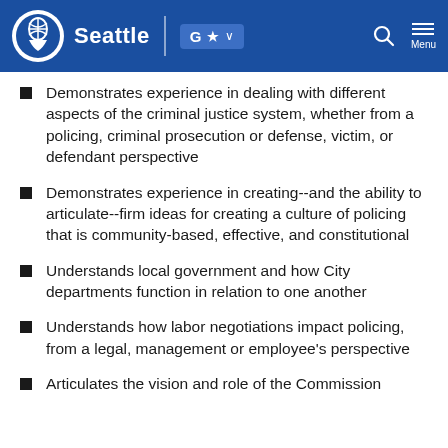Seattle
Demonstrates experience in dealing with different aspects of the criminal justice system, whether from a policing, criminal prosecution or defense, victim, or defendant perspective
Demonstrates experience in creating--and the ability to articulate--firm ideas for creating a culture of policing that is community-based, effective, and constitutional
Understands local government and how City departments function in relation to one another
Understands how labor negotiations impact policing, from a legal, management or employee's perspective
Articulates the vision and role of the Commission